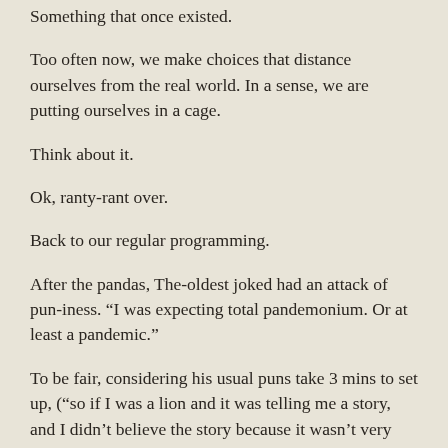Something that once existed.
Too often now, we make choices that distance ourselves from the real world. In a sense, we are putting ourselves in a cage.
Think about it.
Ok, ranty-rant over.
Back to our regular programming.
After the pandas, The-oldest joked had an attack of pun-iness. “I was expecting total pandemonium. Or at least a pandemic.”
To be fair, considering his usual puns take 3 mins to set up, (“so if I was a lion and it was telling me a story, and I didn’t believe the story because it wasn’t very truthful,